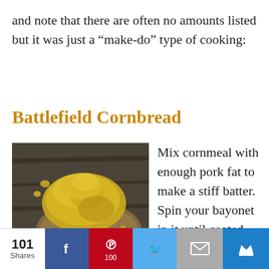and note that there are often no amounts listed but it was just a “make-do” type of cooking:
Battlefield Cornbread
[Figure (photo): A photograph of cornbread — yellow crumbly cornbread pieces on a wooden spoon or board against a dark rustic background.]
Mix cornmeal with enough pork fat to make a stiff batter. Spin your bayonet in it until coated,
101 Shares  [Facebook] [Pinterest 100] [Twitter] [Mail] [Crown]